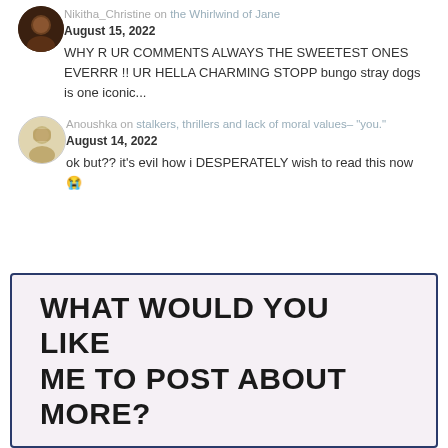Nikitha_Christine on the Whirlwind of Jane · August 15, 2022
WHY R UR COMMENTS ALWAYS THE SWEETEST ONES EVERRR !! UR HELLA CHARMING STOPP bungo stray dogs is one iconic...
Anoushka on stalkers, thrillers and lack of moral values– "you." · August 14, 2022
ok but?? it's evil how i DESPERATELY wish to read this now 😭
WHAT WOULD YOU LIKE ME TO POST ABOUT MORE?